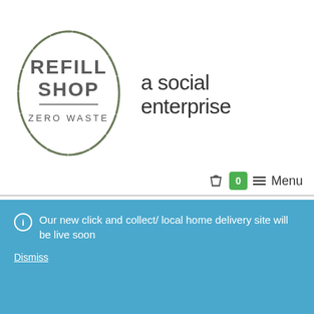[Figure (logo): Refill Shop Zero Waste circular logo with hand-drawn style circle border, text reads REFILL SHOP with a horizontal line and ZERO WASTE below]
a social enterprise
[Figure (infographic): Navigation bar with shopping bag icon, green badge showing 0, hamburger menu icon, and Menu text]
[Figure (illustration): Large decorative hatched/sketched text reading LOVE BUDE - HATE WASTE in uppercase bold letters with crosshatch fill texture]
Our new click and collect/ local home delivery site will be live soon
Dismiss